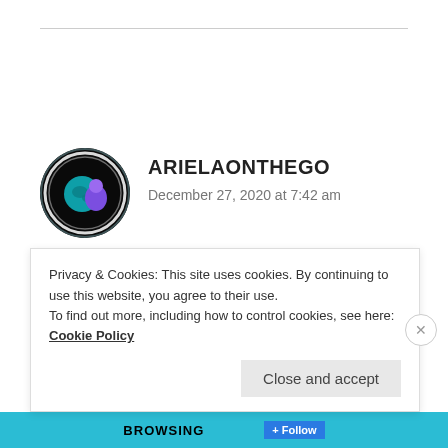[Figure (illustration): Circular avatar with dark background featuring a globe/earth graphic with purple and teal colors]
ARIELAONTHEGO
December 27, 2020 at 7:42 am
🙁
★ Liked by 1 person
Privacy & Cookies: This site uses cookies. By continuing to use this website, you agree to their use.
To find out more, including how to control cookies, see here: Cookie Policy
Close and accept
BROWSING